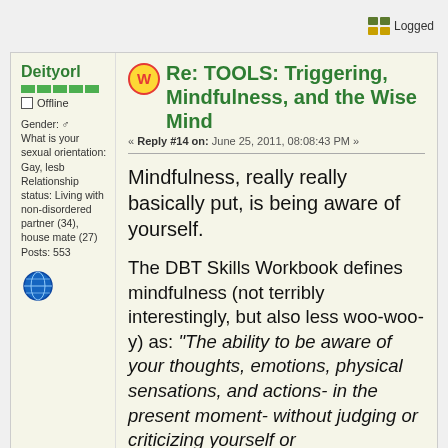Logged
Re: TOOLS: Triggering, Mindfulness, and the Wise Mind
« Reply #14 on: June 25, 2011, 08:08:43 PM »
Deityorl
Offline
Gender: male
What is your sexual orientation: Gay, lesb
Relationship status: Living with non-disordered partner (34), house mate (27)
Posts: 553
Mindfulness, really really basically put, is being aware of yourself.
The DBT Skills Workbook defines mindfulness (not terribly interestingly, but also less woo-woo-y) as: "The ability to be aware of your thoughts, emotions, physical sensations, and actions- in the present moment- without judging or criticizing yourself or